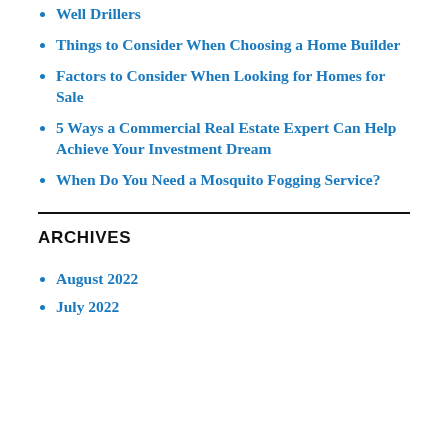Well Drillers
Things to Consider When Choosing a Home Builder
Factors to Consider When Looking for Homes for Sale
5 Ways a Commercial Real Estate Expert Can Help Achieve Your Investment Dream
When Do You Need a Mosquito Fogging Service?
ARCHIVES
August 2022
July 2022